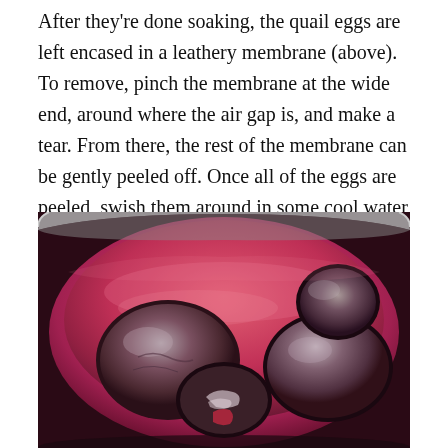After they're done soaking, the quail eggs are left encased in a leathery membrane (above). To remove, pinch the membrane at the wide end, around where the air gap is, and make a tear. From there, the rest of the membrane can be gently peeled off. Once all of the eggs are peeled, swish them around in some cool water to rinse off any membrane left clinging, then they're ready for pickling.
[Figure (photo): Close-up photo of peeled quail eggs (with membrane still partially attached) sitting in a bowl of reddish-pink liquid, viewed from above. The bowl appears to be a metallic/silver colored bowl. The eggs appear dark and glossy, partially submerged in the vivid pink brine.]